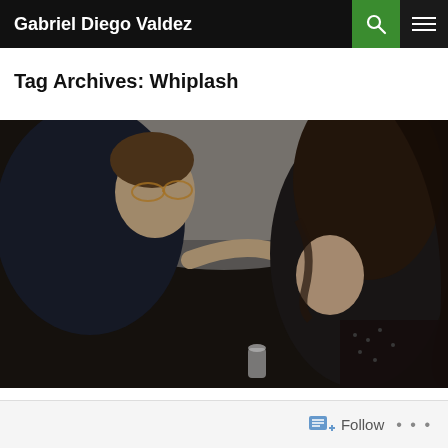Gabriel Diego Valdez
Tag Archives: Whiplash
[Figure (photo): Two people facing each other closely in a diner or cafe setting, backlit by a bright window. The person on the left is a young man in a dark hoodie with glasses; the person on the right is a young woman with long dark hair, as the man reaches out to touch her face.]
Follow • • •